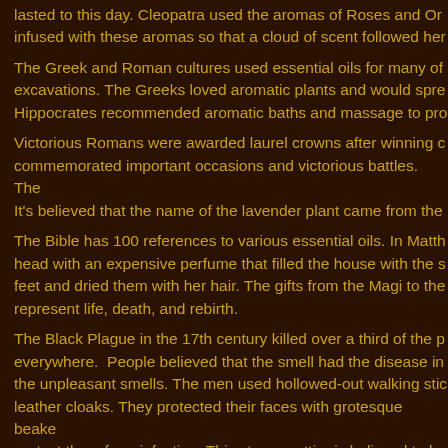lasted to this day. Cleopatra used the aromas of Roses and Or infused with these aromas so that a cloud of scent followed her
The Greek and Roman cultures used essential oils for many of excavations. The Greeks loved aromatic plants and would spre Hippocrates recommended aromatic baths and massage to pro
Victorious Romans were awarded laurel crowns after winning c commemorated important occasions and victorious battles. The It's believed that the name of the lavender plant came from the
The Bible has 100 references to various essential oils. In Matth head with an expensive perfume that filled the house with the s feet and dried them with her hair. The gifts from the Magi to the represent life, death, and rebirth.
The Black Plague in the 17th century killed over a third of the p everywhere. People believed that the smell had the disease in the unpleasant smells. The men used hollowed-out walking stic leather cloaks. They protected their faces with grotesque beake protect them from infection. This strange attire is believed to be London perfumers and glove makers used essential oils to sce remain immune to the plague. Because the town of Buklesbury that it was the center of the lavender trade.
A French scientist, Rene Maurice Gattefesse, had his first...